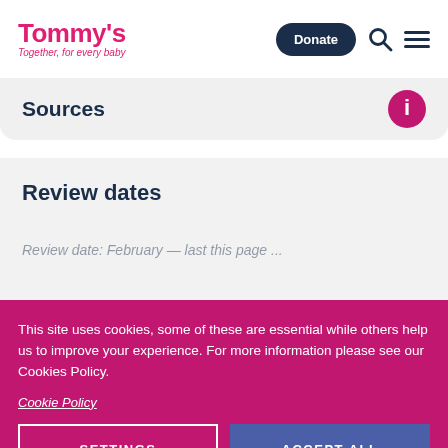Tommy's — Together, for every baby | Donate | Search | Menu
Sources
Review dates
This site uses cookies, some of these are essential while others help us to improve your experience. For more information please see our Cookies Policy.
Cookie Policy
SETTINGS
ACCEPT ALL